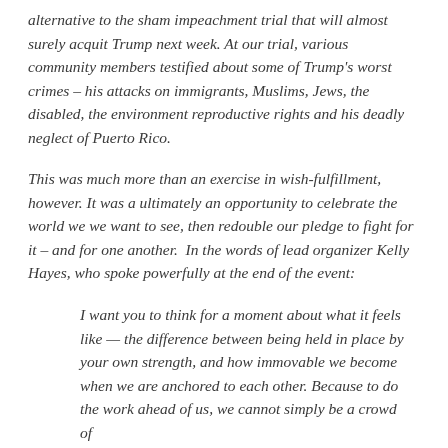alternative to the sham impeachment trial that will almost surely acquit Trump next week. At our trial, various community members testified about some of Trump's worst crimes – his attacks on immigrants, Muslims, Jews, the disabled, the environment reproductive rights and his deadly neglect of Puerto Rico.
This was much more than an exercise in wish-fulfillment, however. It was a ultimately an opportunity to celebrate the world we we want to see, then redouble our pledge to fight for it – and for one another. In the words of lead organizer Kelly Hayes, who spoke powerfully at the end of the event:
I want you to think for a moment about what it feels like — the difference between being held in place by your own strength, and how immovable we become when we are anchored to each other. Because to do the work ahead of us, we cannot simply be a crowd of